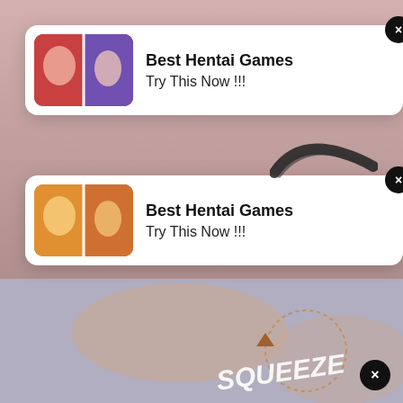[Figure (illustration): Advertisement card 1 with anime-style thumbnail images and text: Best Hentai Games, Try This Now !!!]
Best Hentai Games
Try This Now !!!
[Figure (illustration): Advertisement card 2 with anime-style thumbnail images and text: Best Hentai Games, Try This Now !!!]
Best Hentai Games
Try This Now !!!
[Figure (illustration): Manga/webtoon panel showing a scene with squeeze sound effect text overlay]